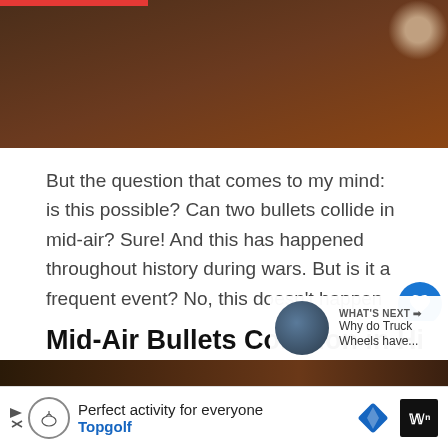[Figure (photo): Partial image of a dark brown wooden surface with a circular object in the top right corner]
But the question that comes to my mind: is this possible? Can two bullets collide in mid-air? Sure! And this has happened throughout history during wars. But is it a frequent event? No, this doesn't happen easily.
Mid-Air Bullets Collision in Hi
[Figure (photo): Thumbnail image for next article: Why do Truck Wheels have...]
WHAT'S NEXT → Why do Truck Wheels have...
[Figure (photo): Partial image at bottom of page with dark orange tones]
Perfect activity for everyone Topgolf